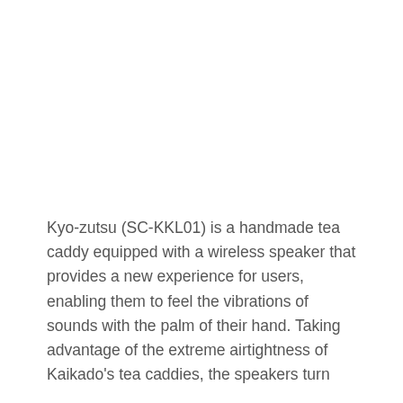Kyo-zutsu (SC-KKL01) is a handmade tea caddy equipped with a wireless speaker that provides a new experience for users, enabling them to feel the vibrations of sounds with the palm of their hand. Taking advantage of the extreme airtightness of Kaikado's tea caddies, the speakers turn